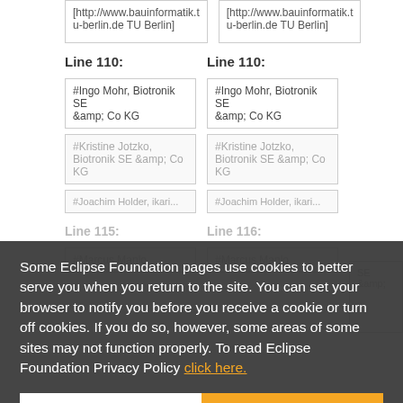[http://www.bauinformatik.tu-berlin.de TU Berlin]
[http://www.bauinformatik.tu-berlin.de TU Berlin]
Line 110:
Line 110:
#Ingo Mohr, Biotronik SE &amp; Co KG
#Ingo Mohr, Biotronik SE &amp; Co KG
#Kristine Jotzko, Biotronik SE &amp; Co KG
#Kristine Jotzko, Biotronik SE &amp; Co KG
SE &amp;
#Joachim Holder, ikari...
#Joachim Holder, ikari...
Line 115:
Line 116:
#Marcus Manlo
#Marcus Manlo
Some Eclipse Foundation pages use cookies to better serve you when you return to the site. You can set your browser to notify you before you receive a cookie or turn off cookies. If you do so, however, some areas of some sites may not function properly. To read Eclipse Foundation Privacy Policy click here.
Decline
Allow cookies